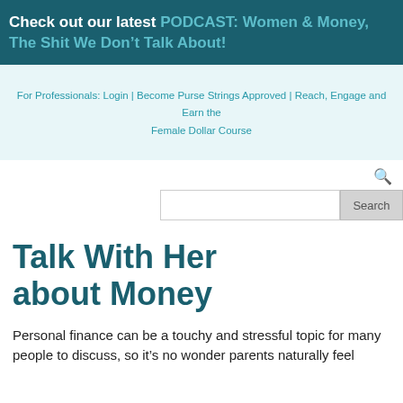Check out our latest PODCAST: Women & Money, The Shit We Don't Talk About!
For Professionals: Login | Become Purse Strings Approved | Reach, Engage and Earn the Female Dollar Course
Talk With Her about Money
Personal finance can be a touchy and stressful topic for many people to discuss, so it's no wonder parents naturally feel